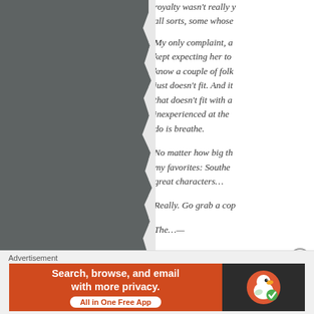[Figure (photo): Gray torn-paper or shadowed background image on the left side of the page]
royalty wasn't really y... all sorts, some whose
My only complaint, a... kept expecting her to... know a couple of folk... just doesn't fit. And it... that doesn't fit with a... inexperienced at the ... do is breathe.
No matter how big th... my favorites: Southe... great characters...
Really. Go grab a cop...
The...
Advertisement
[Figure (infographic): DuckDuckGo advertisement banner: orange left section with text 'Search, browse, and email with more privacy. All in One Free App', dark right section with DuckDuckGo duck logo]